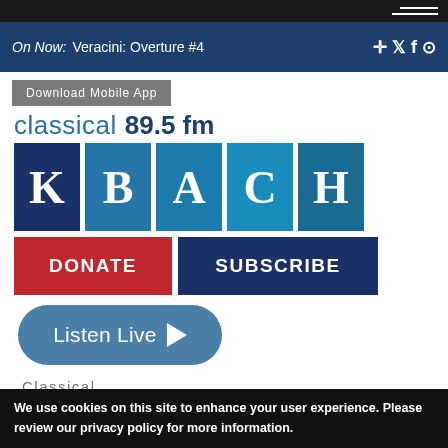On Now: Veracini: Overture #4
Download Mobile App
[Figure (logo): KBACH classical 89.5 fm radio station logo with colored letter tiles]
DONATE
SUBSCRIBE
Listen Live
Classical Music with Melissa
We use cookies on this site to enhance your user experience. Please review our privacy policy for more information.